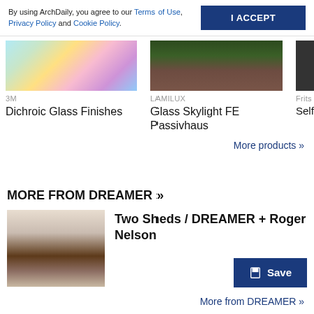By using ArchDaily, you agree to our Terms of Use, Privacy Policy and Cookie Policy.
I ACCEPT
[Figure (photo): Dichroic glass with rainbow light reflections]
3M
Dichroic Glass Finishes
[Figure (photo): Glass skylight installed over wooden deck surrounded by green foliage]
LAMILUX
Glass Skylight FE Passivhaus
[Figure (photo): Partial product image, dark/cut off]
Frits
Self Syst
More products »
MORE FROM DREAMER »
[Figure (photo): Two dark timber sheds in a rural landscape with hills in the background]
Two Sheds / DREAMER + Roger Nelson
Save
More from DREAMER »